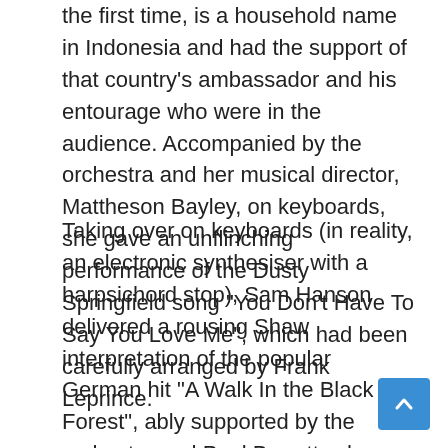the first time, is a household name in Indonesia and had the support of that country's ambassador and his entourage who were in the audience. Accompanied by the orchestra and her musical director, Mattheson Bayley, on keyboards, she gave an unflinching performance of the Dusty Springfield song "You Don't Have To Say You Love Me", which had been carefully arranged by Frank Leprince.
Taking over on keyboards (in reality, an electronic synthesiser with a harpsichord stop), Sam Hanson delivered a rousing Shaw interpretation of the popular German hit "A Walk In the Black Forest", ably supported by the orchestra and Paul Barrett, who wore a Tyrolean hat. Ed Stewart then told us that the Mantovani arrangement of "Come September" was a Bobby Darin hit but, in fact, it's not the same song, rather it's a melody written by Lena Martell under her real name of Helen Thomson. This enchanting waltz, given the full "Mantovani Sound" treatment, featured lush strings and vibraphone adorning a simply beautiful song which has